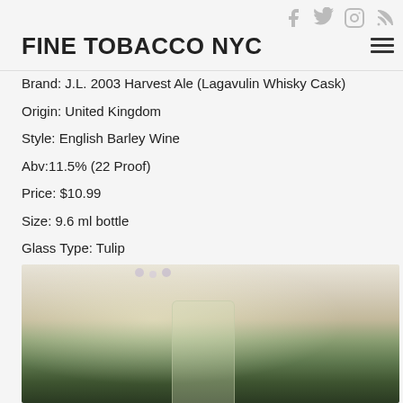FINE TOBACCO NYC
Brand: J.L. 2003 Harvest Ale (Lagavulin Whisky Cask)
Origin: United Kingdom
Style: English Barley Wine
Abv:11.5% (22 Proof)
Price: $10.99
Size: 9.6 ml bottle
Glass Type: Tulip
[Figure (photo): A glass vessel containing a golden/pale liquid with flowers and greenery arranged inside or behind it, photographed against a light background. The glass appears to be a tulip-style beer glass.]